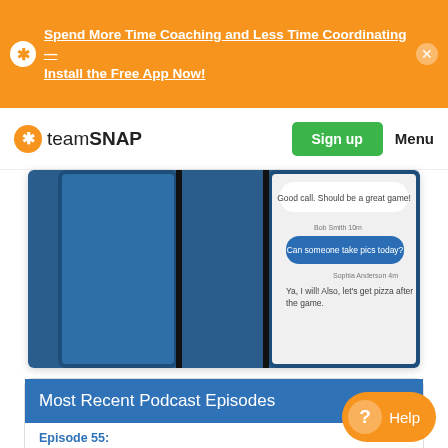Spend More Time Coaching and Less Time Coordinating—Install the Free App Now!
[Figure (logo): TeamSnap logo with orange star icon and text 'teamSNAP']
Sign up
Menu
[Figure (screenshot): Two smartphones showing TeamSnap messaging interface with chat bubbles. Messages include: 'Good call. Should be a great game!', 'Bob Smith 10m: Can someone take pics today?', 'Sophia Anderson 4m: Ya, I will! Also, let's get pizza after the game.']
Most Recent Podcast Episodes
Episode 55:
Coaching Youth Baseball: Tips from an Award Wi...
Episode 56: